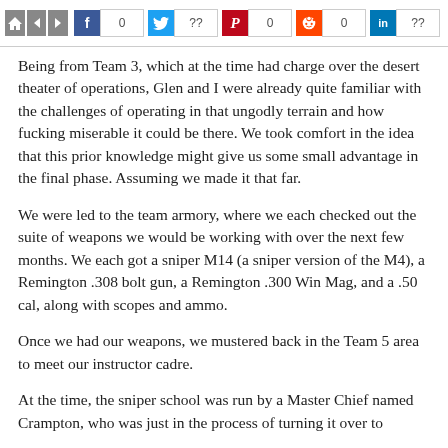[Figure (other): Social media share bar with home/back/forward navigation icons, Facebook (0), Twitter (??), Pinterest (0), Reddit (0), LinkedIn (??) share buttons]
Being from Team 3, which at the time had charge over the desert theater of operations, Glen and I were already quite familiar with the challenges of operating in that ungodly terrain and how fucking miserable it could be there. We took comfort in the idea that this prior knowledge might give us some small advantage in the final phase. Assuming we made it that far.
We were led to the team armory, where we each checked out the suite of weapons we would be working with over the next few months. We each got a sniper M14 (a sniper version of the M4), a Remington .308 bolt gun, a Remington .300 Win Mag, and a .50 cal, along with scopes and ammo.
Once we had our weapons, we mustered back in the Team 5 area to meet our instructor cadre.
At the time, the sniper school was run by a Master Chief named Crampton, who was just in the process of turning it over to